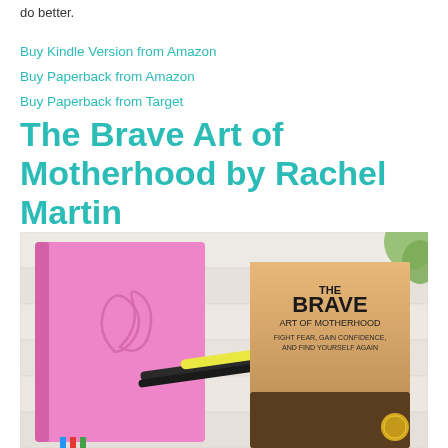do better.
Buy Kindle Version from Amazon
Buy Paperback from Amazon
Buy Paperback from Target
The Brave Art of Motherhood by Rachel Martin
[Figure (photo): Photo of a pink journal/notebook with an embossed logo on the cover, lying on a white wooden surface next to a copy of 'The Brave Art of Motherhood' book, with some markers and a yellow pen visible, and a green plant partially visible in the upper right corner.]